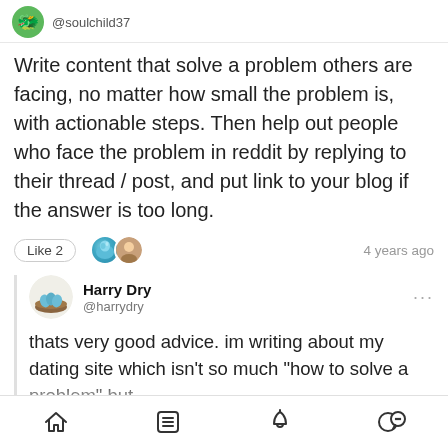@soulchild37
Write content that solve a problem others are facing, no matter how small the problem is, with actionable steps. Then help out people who face the problem in reddit by replying to their thread / post, and put link to your blog if the answer is too long.
Like 2 · 4 years ago
Harry Dry @harrydry
thats very good advice. im writing about my dating site which isn't so much "how to solve a problem" but